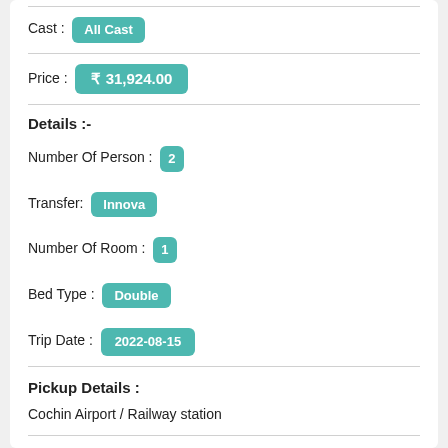Cast : All Cast
Price : ₹ 31,924.00
Details :-
Number Of Person : 2
Transfer: Innova
Number Of Room : 1
Bed Type : Double
Trip Date : 2022-08-15
Pickup Details :
Cochin Airport / Railway station